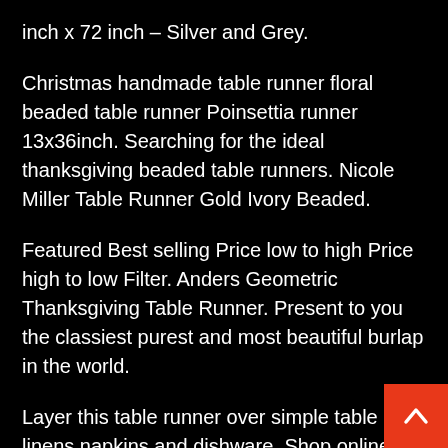inch x 72 inch – Silver and Grey.
Christmas handmade table runner floral beaded table runner Poinsettia runner 13x36inch. Searching for the ideal thanksgiving beaded table runners. Nicole Miller Table Runner Gold Ivory Beaded.
Featured Best selling Price low to high Price high to low Filter. Anders Geometric Thanksgiving Table Runner. Present to you the classiest purest and most beautiful burlap in the world.
Layer this table runner over simple table linens napkins and dishware. Shop online at Bed Bath Beyond to find just the thanksgiving beaded table runners you are looking for. Amounts shown in italicized text are for listed in currency other than Canadian dollars and are